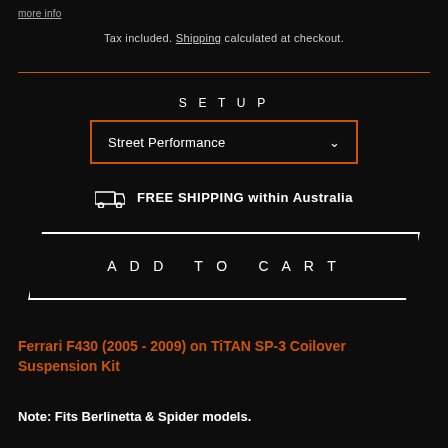more info
Tax included. Shipping calculated at checkout.
SETUP
Street Performance
FREE SHIPPING within Australia
ADD TO CART
Ferrari F430 (2005 - 2009) on TiTAN SP-3 Coilover Suspension Kit
Note: Fits Berlinetta & Spider models.